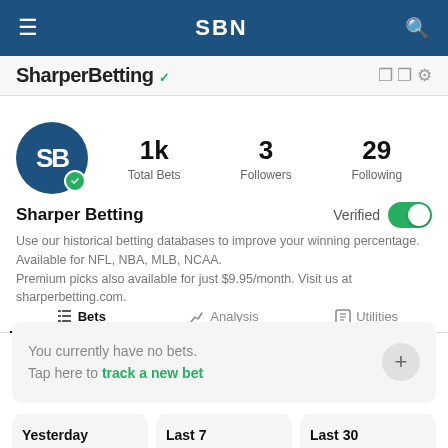SBN
SharperBetting
1k Total Bets   3 Followers   29 Following
Sharper Betting   Verified
Use our historical betting databases to improve your winning percentage. Available for NFL, NBA, MLB, NCAA. Premium picks also available for just $9.95/month. Visit us at sharperbetting.com.
Bets   Analysis   Utilities
You currently have no bets.
Tap here to track a new bet
Yesterday   Last 7   Last 30